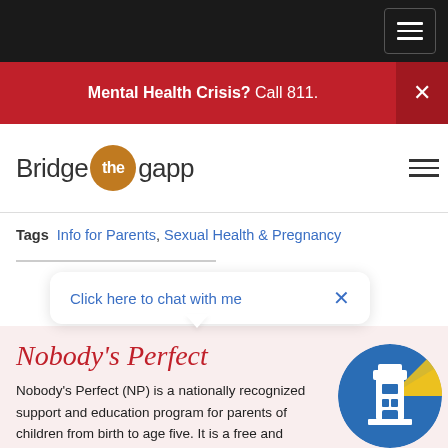Mental Health Crisis? Call 811.
[Figure (logo): Bridge the gapp logo with orange circle containing 'the']
providers, advocates, prevention and health promotion, support research and quality assurance initiatives, and connect students and researchers with information from its databases.
Tags  Info for Parents, Sexual Health & Pregnancy
Click here to chat with me
Nobody's Perfect
Nobody's Perfect (NP) is a nationally recognized support and education program for parents of children from birth to age five. It is a free and voluntary parenting program designed to meet the needs of